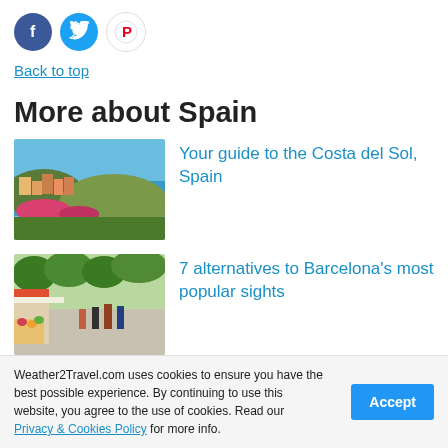[Figure (logo): Social media icons: Facebook (blue circle), Twitter (light blue circle), Pinterest (white circle with red P)]
Back to top
More about Spain
[Figure (photo): Coastal town of Costa del Sol with colorful buildings, flowers, and sea view under blue sky]
Your guide to the Costa del Sol, Spain
[Figure (photo): Busy Barcelona street lined with trees, market stalls and pedestrians]
7 alternatives to Barcelona's most popular sights
Weather2Travel.com uses cookies to ensure you have the best possible experience. By continuing to use this website, you agree to the use of cookies. Read our Privacy & Cookies Policy for more info.